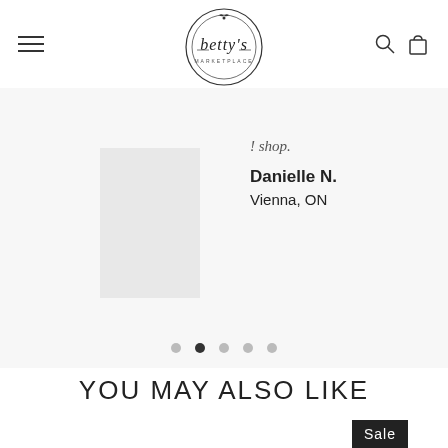[Figure (logo): Betty's Marketplace circular logo with script font and floral bird illustration]
! shop.
Danielle N.
Vienna, ON
YOU MAY ALSO LIKE
[Figure (other): Sale badge in dark rectangle]